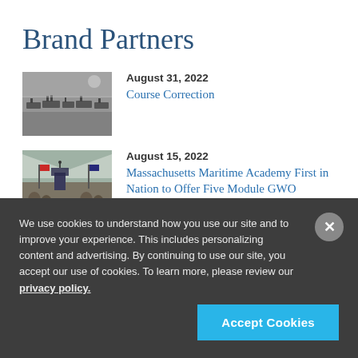Brand Partners
August 31, 2022
Course Correction
[Figure (photo): Black and white aerial photo of a harbor with many ships and vessels docked]
August 15, 2022
Massachusetts Maritime Academy First in Nation to Offer Five Module GWO
[Figure (photo): Photo of a speaker at a podium with flags in the background at an outdoor event]
We use cookies to understand how you use our site and to improve your experience. This includes personalizing content and advertising. By continuing to use our site, you accept our use of cookies. To learn more, please review our privacy policy.